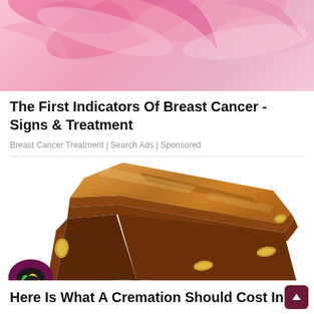[Figure (photo): Pink breast cancer awareness ribbons on pink background]
The First Indicators Of Breast Cancer - Signs & Treatment
Breast Cancer Treatment | Search Ads | Sponsored
[Figure (photo): Wooden brown coffin/casket with gold handles on white background]
Here Is What A Cremation Should Cost In